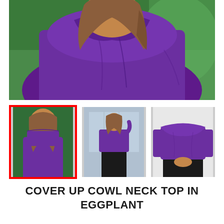[Figure (photo): Main product photo: close-up back view of woman wearing a purple cowl neck top, cowl pulled up over lower face, long brown hair, blurred outdoor background]
[Figure (photo): Thumbnail 1 (selected, red border): Woman wearing purple cowl neck top with cowl pulled up as face cover, three-quarter portrait view]
[Figure (photo): Thumbnail 2: Woman standing outdoors wearing purple cowl neck top, full body view, hand raised to head]
[Figure (photo): Thumbnail 3: Close-up of woman wearing purple cowl neck top, showing sleeve and cowl detail, black pants]
COVER UP COWL NECK TOP IN EGGPLANT